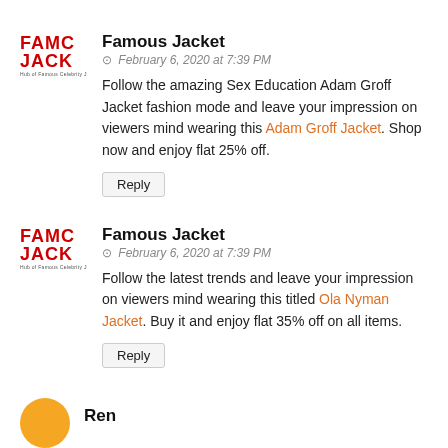Famous Jacket
February 6, 2020 at 7:39 PM
Follow the amazing Sex Education Adam Groff Jacket fashion mode and leave your impression on viewers mind wearing this Adam Groff Jacket. Shop now and enjoy flat 25% off.
Reply
Famous Jacket
February 6, 2020 at 7:39 PM
Follow the latest trends and leave your impression on viewers mind wearing this titled Ola Nyman Jacket. Buy it and enjoy flat 35% off on all items.
Reply